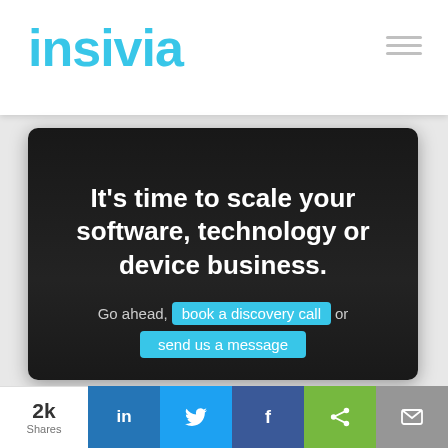insivia
[Figure (screenshot): Insivia website hero section with dark background card containing headline text and CTA buttons]
It's time to scale your software, technology or device business.
Go ahead, book a discovery call or send us a message
2k Shares | LinkedIn | Twitter | Facebook | Share | Email